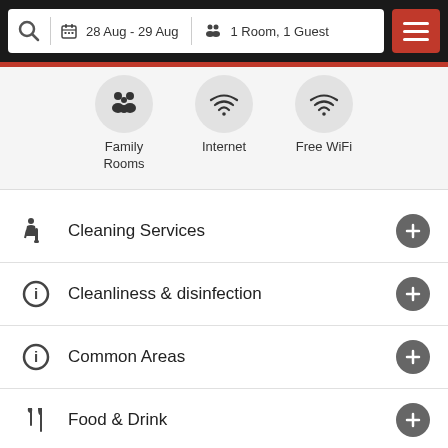28 Aug - 29 Aug  1 Room, 1 Guest
[Figure (screenshot): Amenities icons: Family Rooms, Internet, Free WiFi]
Cleaning Services
Cleanliness & disinfection
Common Areas
Food & Drink
Search Rooms